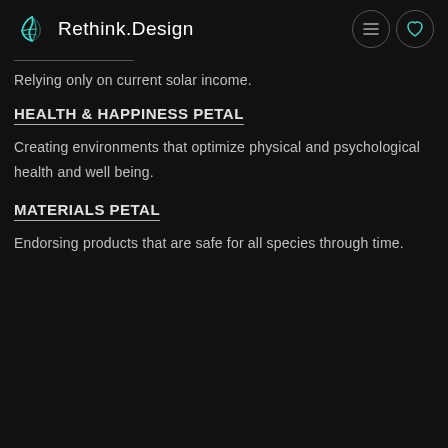Rethink.Design
Relying only on current solar income.
HEALTH & HAPPINESS PETAL
Creating environments that optimize physical and psychological health and well being.
MATERIALS PETAL
Endorsing products that are safe for all species through time.